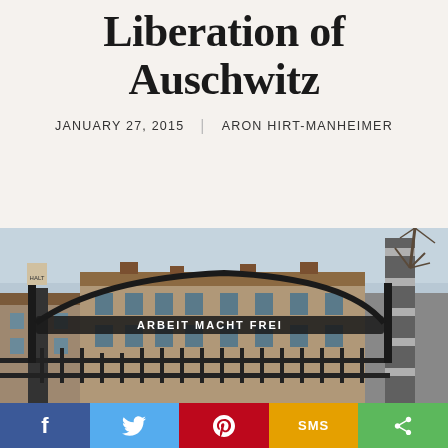Liberation of Auschwitz
JANUARY 27, 2015  |  ARON HIRT-MANHEIMER
[Figure (photo): Photograph of the entrance gate to Auschwitz concentration camp with the 'Arbeit Macht Frei' iron sign archway, brick buildings in the background, and bare trees on the right side.]
[Figure (infographic): Social media sharing bar with Facebook (blue), Twitter (light blue), Pinterest (red), SMS (yellow/orange), and Share (green) buttons at the bottom of the page.]